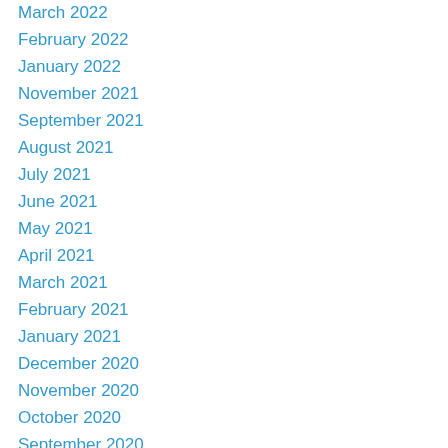March 2022
February 2022
January 2022
November 2021
September 2021
August 2021
July 2021
June 2021
May 2021
April 2021
March 2021
February 2021
January 2021
December 2020
November 2020
October 2020
September 2020
July 2020
June 2020
May 2020